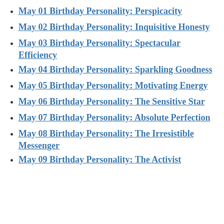May 01 Birthday Personality: Perspicacity
May 02 Birthday Personality: Inquisitive Honesty
May 03 Birthday Personality: Spectacular Efficiency
May 04 Birthday Personality: Sparkling Goodness
May 05 Birthday Personality: Motivating Energy
May 06 Birthday Personality: The Sensitive Star
May 07 Birthday Personality: Absolute Perfection
May 08 Birthday Personality: The Irresistible Messenger
May 09 Birthday Personality: The Activist